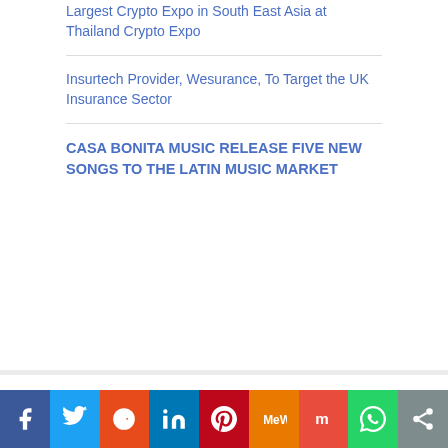Largest Crypto Expo in South East Asia at Thailand Crypto Expo
Insurtech Provider, Wesurance, To Target the UK Insurance Sector
CASA BONITA MUSIC RELEASE FIVE NEW SONGS TO THE LATIN MUSIC MARKET
CATEGORIES
Cloud PRWire
Environment
Nutrition